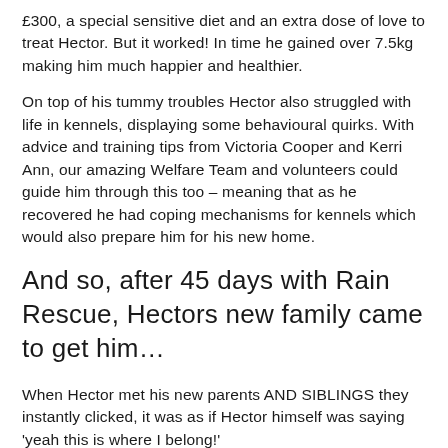£300, a special sensitive diet and an extra dose of love to treat Hector. But it worked! In time he gained over 7.5kg making him much happier and healthier.
On top of his tummy troubles Hector also struggled with life in kennels, displaying some behavioural quirks. With advice and training tips from Victoria Cooper and Kerri Ann, our amazing Welfare Team and volunteers could guide him through this too – meaning that as he recovered he had coping mechanisms for kennels which would also prepare him for his new home.
And so, after 45 days with Rain Rescue, Hectors new family came to get him…
When Hector met his new parents AND SIBLINGS they instantly clicked, it was as if Hector himself was saying 'yeah this is where I belong!'